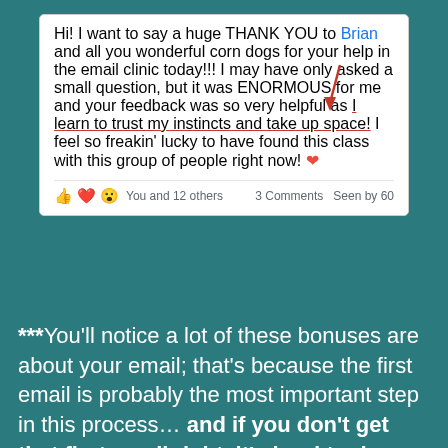[Figure (screenshot): Facebook post screenshot: User thanks Brian and others for help in email clinic. Text includes underlined phrase 'I learn to trust my instincts and take up space!' with red arrow annotation. Shows reactions: You and 12 others, 3 Comments, Seen by 60.]
***You'll notice a lot of these bonuses are about your email; that's because the first email is probably the most important step in this process… and if you don't get that first email right, it's hard to do anything else!
Brian Email Seal of Approval